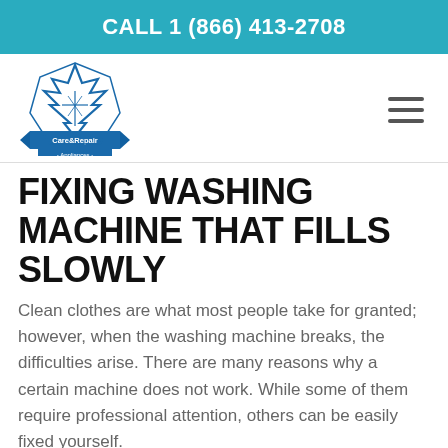CALL 1 (866) 413-2708
[Figure (logo): Care & Repair Appliances logo with maple leaf design in blue and white, with banner reading 'Care&Repair - Appliances -']
FIXING WASHING MACHINE THAT FILLS SLOWLY
Clean clothes are what most people take for granted; however, when the washing machine breaks, the difficulties arise. There are many reasons why a certain machine does not work. While some of them require professional attention, others can be easily fixed yourself.